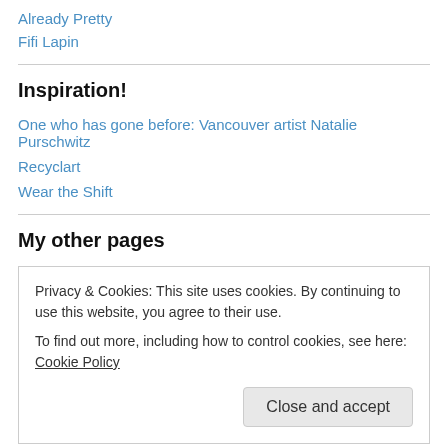Already Pretty
Fifi Lapin
Inspiration!
One who has gone before: Vancouver artist Natalie Purschwitz
Recyclart
Wear the Shift
My other pages
Privacy & Cookies: This site uses cookies. By continuing to use this website, you agree to their use.
To find out more, including how to control cookies, see here: Cookie Policy
Close and accept
Sewing Links